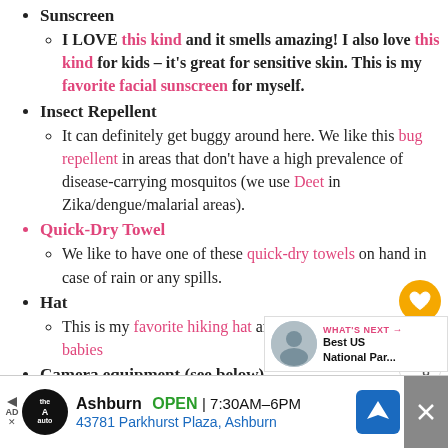Sunscreen
I LOVE this kind and it smells amazing! I also love this kind for kids – it's great for sensitive skin. This is my favorite facial sunscreen for myself.
Insect Repellent
It can definitely get buggy around here. We like this bug repellent in areas that don't have a high prevalence of disease-carrying mosquitos (we use Deet in Zika/dengue/malarial areas).
Quick-Dry Towel
We like to have one of these quick-dry towels on hand in case of rain or any spills.
Hat
This is my favorite hiking hat and my favorite hat for babies
Camera equipment (see below)
[Figure (screenshot): Ad bar at bottom: The Auto store, Ashburn OPEN 7:30AM-6PM, 43781 Parkhurst Plaza, Ashburn. Navigation icon and close button visible.]